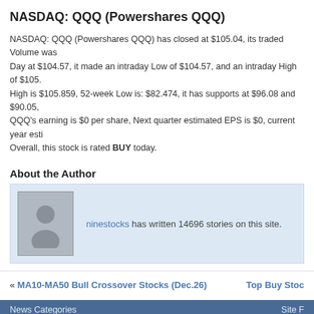NASDAQ: QQQ (Powershares QQQ)
NASDAQ: QQQ (Powershares QQQ) has closed at $105.04, its traded Volume was. Day at $104.57, it made an intraday Low of $104.57, and an intraday High of $105. High is $105.859, 52-week Low is: $82.474, it has supports at $96.08 and $90.05, QQQ's earning is $0 per share, Next quarter estimated EPS is $0, current year esti. Overall, this stock is rated BUY today.
About the Author
ninestocks has written 14696 stories on this site.
« MA10-MA50 Bull Crossover Stocks (Dec.26)    Top Buy Sto...
News Categories    Site F...
Home page    Stock Analysis and Picks    Investment Education    News
Copyright © 2012 Nine Stocks